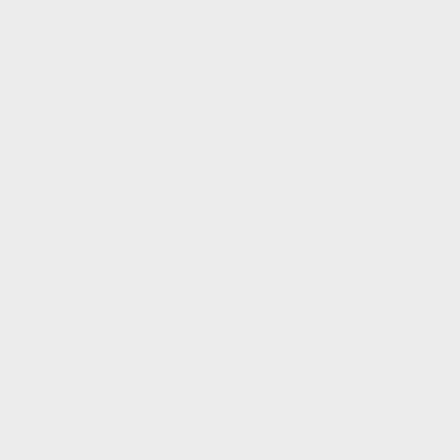[Figure (photo): Generic user avatar placeholder image (grey silhouette on grey background) for first comment, dated April 19, 2022 at 5:34 pm]
April 19, 2022 at 5:34 pm
https... We ar Your s on. Yo thank
[Figure (photo): Generic user avatar placeholder image (grey silhouette on grey background) for second comment, dated April 19, 2022 at 5:36 pm]
April 19, 2022 at 5:36 pm
oq-ay... Under on the peopl You c top as other Thank